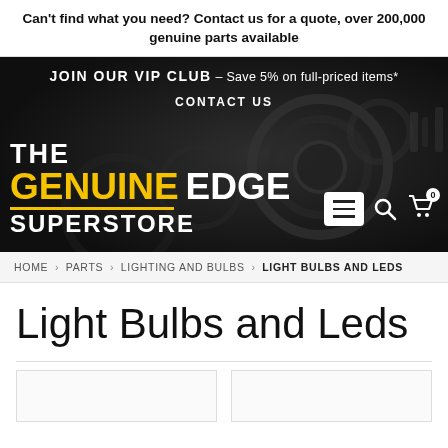Can't find what you need? Contact us for a quote, over 200,000 genuine parts available
[Figure (screenshot): The Genuine Edge Superstore banner with VIP club offer, contact us link, logo, and navigation icons on dark background]
HOME › PARTS › LIGHTING AND BULBS › LIGHT BULBS AND LEDS
Light Bulbs and Leds
[Figure (other): Two partial product card placeholders at bottom of page]